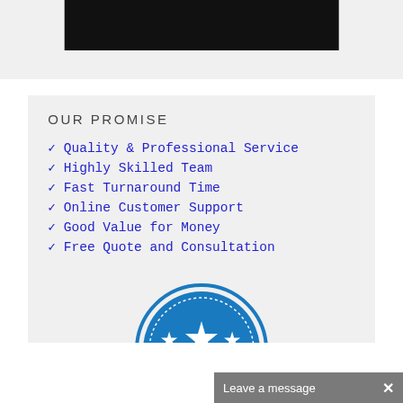[Figure (photo): Black rectangular image area at top of page, partially visible]
OUR PROMISE
✓ Quality & Professional Service
✓ Highly Skilled Team
✓ Fast Turnaround Time
✓ Online Customer Support
✓ Good Value for Money
✓ Free Quote and Consultation
[Figure (illustration): Blue badge/seal with stars, partially visible at bottom]
Leave a message  ×